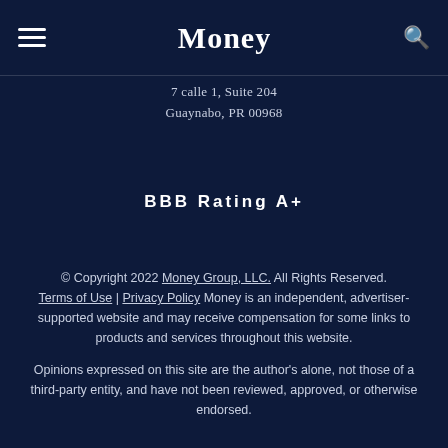Money
7 calle 1, Suite 204
Guaynabo, PR 00968
BBB Rating A+
© Copyright 2022 Money Group, LLC. All Rights Reserved. Terms of Use | Privacy Policy Money is an independent, advertiser-supported website and may receive compensation for some links to products and services throughout this website.
Opinions expressed on this site are the author's alone, not those of a third-party entity, and have not been reviewed, approved, or otherwise endorsed.